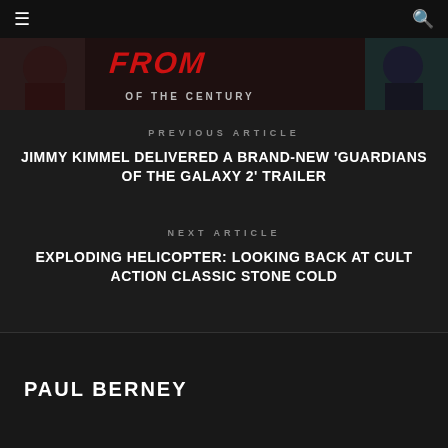☰  🔍
[Figure (illustration): Banner image with comic-style artwork showing characters, red italic title text partially visible reading 'FROM' or similar, subtitle 'OF THE CENTURY' in grey letters]
PREVIOUS ARTICLE
JIMMY KIMMEL DELIVERED A BRAND-NEW 'GUARDIANS OF THE GALAXY 2' TRAILER
NEXT ARTICLE
EXPLODING HELICOPTER: LOOKING BACK AT CULT ACTION CLASSIC STONE COLD
PAUL BERNEY